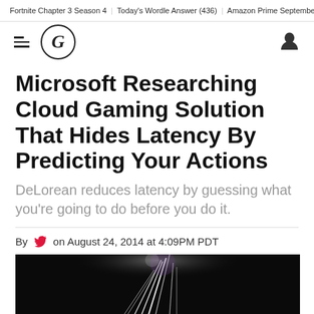Fortnite Chapter 3 Season 4 | Today's Wordle Answer (436) | Amazon Prime September Gam
[Figure (logo): GameSpot G logo in circle, hamburger menu icon, and user account icon in site navigation header]
Microsoft Researching Cloud Gaming Solution That Hides Latency By Predicting Your Actions
DeLorean reduces latency by guessing what you're going to do before you do it.
By [twitter icon] on August 24, 2014 at 4:09PM PDT
[Figure (photo): Dark photo with bright light streaks/fireworks against a black background]